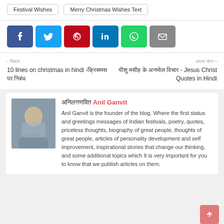Festival Wishes
Merry Christmas Wishes Text
[Figure (infographic): Social share buttons: Facebook, Twitter, Pinterest, LinkedIn, WhatsApp, Email]
< पिछला
10 lines on christmas in hindi -क्रिसमस पर निबंध
अगला पोस्ट >
यीशु मसीह के अनमोल विचार - Jesus Christ Quotes in Hindi
अनिलगणवित Anil Ganvit
Anil Ganvit is the founder of the blog. Where the first status and greetings messages of Indian festivals, poetry, quotes, priceless thoughts, biography of great people, thoughts of great people, articles of personality development and self improvement, inspirational stories that change our thinking, and some additional topics which It is very important for you to know that we publish articles on them.